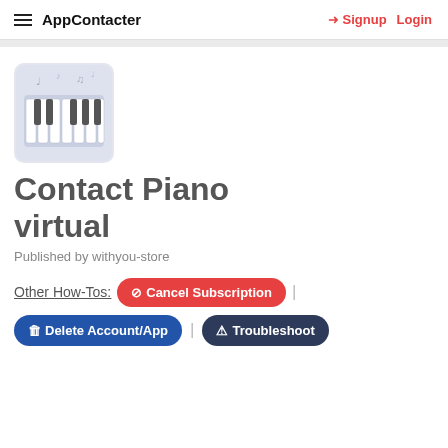AppContacter | Signup | Login
[Figure (screenshot): Piano keyboard app icon with white keys on light blue/gray background]
Contact Piano virtual
Published by withyou-store
Other How-Tos: Cancel Subscription | Delete Account/App | Troubleshoot